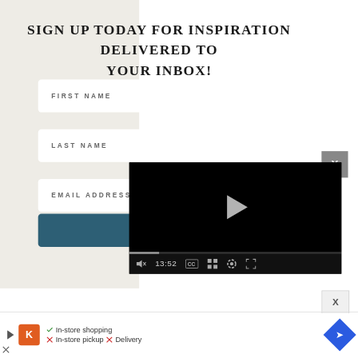SIGN UP TODAY FOR INSPIRATION DELIVERED TO YOUR INBOX!
FIRST NAME
LAST NAME
EMAIL ADDRESS
[Figure (screenshot): Video player overlay showing a black video screen with a play button triangle in the center, a progress bar, and video controls including mute icon, timestamp 13:52, CC button, grid button, settings gear icon, and fullscreen button]
[Figure (screenshot): Bottom advertisement bar showing a Kroger store ad with icons for In-store shopping (checkmark), In-store pickup (X), and Delivery (X), with a navigation arrow icon on the right]